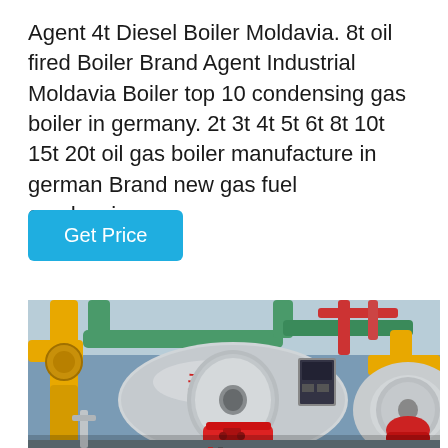Agent 4t Diesel Boiler Moldavia. 8t oil fired Boiler Brand Agent Industrial Moldavia Boiler top 10 condensing gas boiler in germany. 2t 3t 4t 5t 6t 8t 10t 15t 20t oil gas boiler manufacture in german Brand new gas fuel condensing…
Get Price
[Figure (photo): Industrial boiler room photograph showing large cylindrical horizontal boilers with yellow gas pipes, green pipes, red components and burners mounted on the fronts of the boiler units. Chinese characters visible on boiler surfaces.]